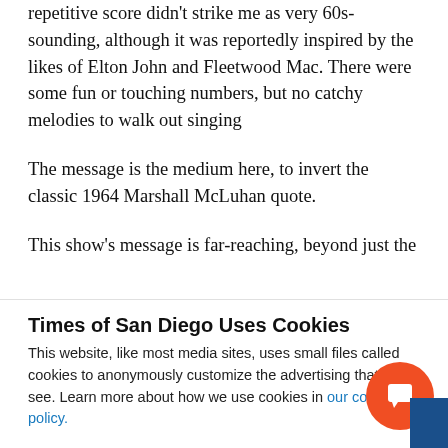repetitive score didn't strike me as very 60s-sounding, although it was reportedly inspired by the likes of Elton John and Fleetwood Mac. There were some fun or touching numbers, but no catchy melodies to walk out singing
The message is the medium here, to invert the classic 1964 Marshall McLuhan quote.
This show's message is far-reaching, beyond just the
Times of San Diego Uses Cookies
This website, like most media sites, uses small files called cookies to anonymously customize the advertising that you see. Learn more about how we use cookies in our cookie policy.